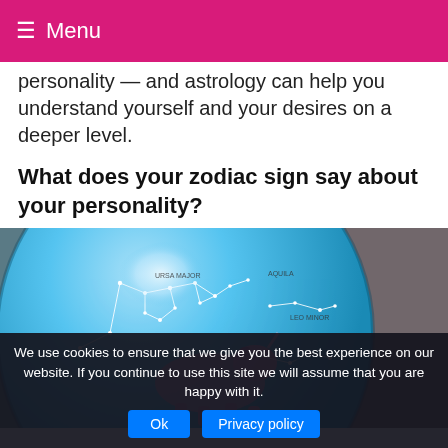☰ Menu
personality — and astrology can help you understand yourself and your desires on a deeper level.
What does your zodiac sign say about your personality?
[Figure (photo): Close-up photo of a constellation globe showing zodiac figures painted on a blue globe with constellation lines drawn in white, including Ursa Major and Leo Minor labels visible.]
We use cookies to ensure that we give you the best experience on our website. If you continue to use this site we will assume that you are happy with it.